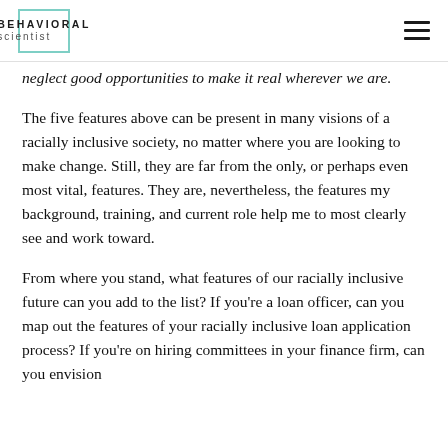BEHAVIORAL scientist
neglect good opportunities to make it real wherever we are.
The five features above can be present in many visions of a racially inclusive society, no matter where you are looking to make change. Still, they are far from the only, or perhaps even most vital, features. They are, nevertheless, the features my background, training, and current role help me to most clearly see and work toward.
From where you stand, what features of our racially inclusive future can you add to the list? If you're a loan officer, can you map out the features of your racially inclusive loan application process? If you're on hiring committees in your finance firm, can you envision